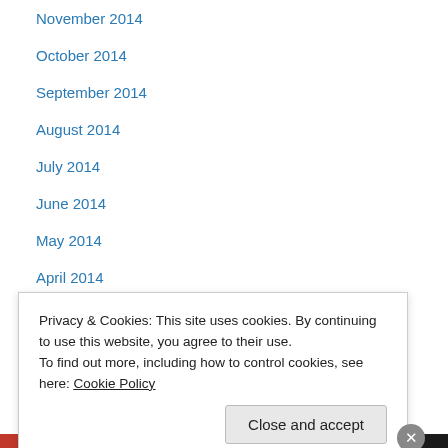November 2014
October 2014
September 2014
August 2014
July 2014
June 2014
May 2014
April 2014
March 2014
February 2014
January 2014
November 2013
September 2013
August 2013
Privacy & Cookies: This site uses cookies. By continuing to use this website, you agree to their use. To find out more, including how to control cookies, see here: Cookie Policy
Advertisements